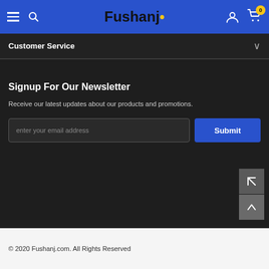Fushanj
Customer Service
Signup For Our Newsletter
Receive our latest updates about our products and promotions.
enter your email address
Submit
© 2020 Fushanj.com. All Rights Reserved